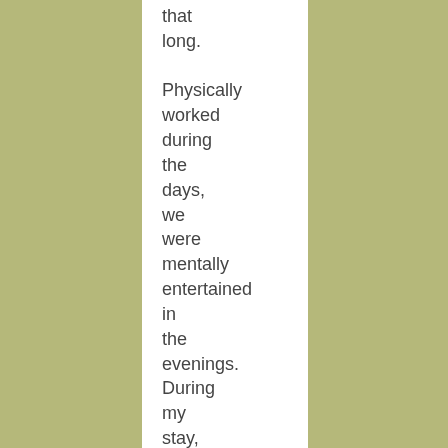that long.

Physically worked during the days, we were mentally entertained in the evenings. During my stay, I watched Lisa Rand present